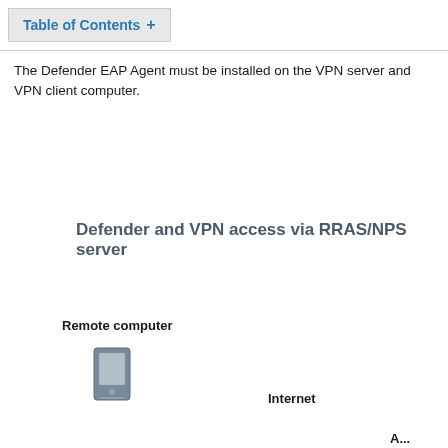Table of Contents +
The Defender EAP Agent must be installed on the VPN server and VPN client computer.
Defender and VPN access via RRAS/NPS server
[Figure (infographic): Network diagram showing Remote computer, Internet, and partially visible third element. Includes a computer tower icon below the Remote computer label.]
Remote computer
Internet